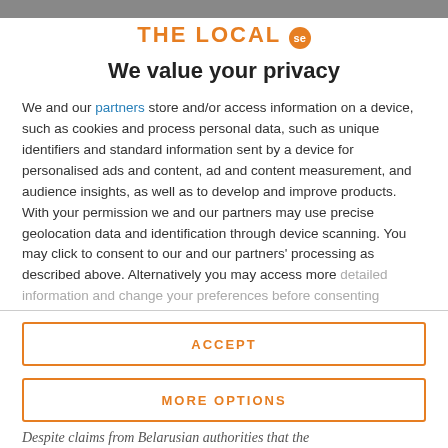THE LOCAL se
We value your privacy
We and our partners store and/or access information on a device, such as cookies and process personal data, such as unique identifiers and standard information sent by a device for personalised ads and content, ad and content measurement, and audience insights, as well as to develop and improve products. With your permission we and our partners may use precise geolocation data and identification through device scanning. You may click to consent to our and our partners’ processing as described above. Alternatively you may access more detailed information and change your preferences before consenting
ACCEPT
MORE OPTIONS
Despite claims from Belarusian authorities that the